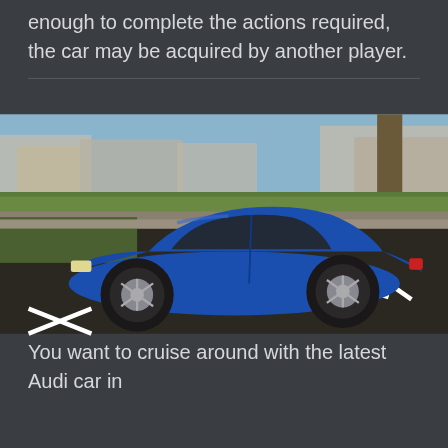enough to complete the actions required, the car may be acquired by another player.
[Figure (photo): A blue sedan car (Obey Tailgater from GTA V) parked in a parking area with white painted markings, surrounded by green hedges, trees, buildings and a marina in the background.]
OBEY TAILGATER
You want to cruise around with the latest Audi car in